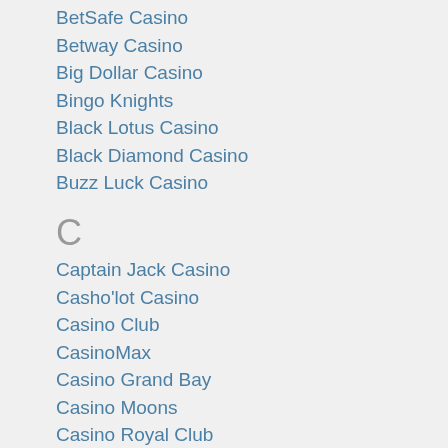BetSafe Casino
Betway Casino
Big Dollar Casino
Bingo Knights
Black Lotus Casino
Black Diamond Casino
Buzz Luck Casino
C
Captain Jack Casino
Casho'lot Casino
Casino Club
CasinoMax
Casino Grand Bay
Casino Moons
Casino Royal Club
Cherry Gold Casino
Cherry Jackpot Casino
Club Gold Casino